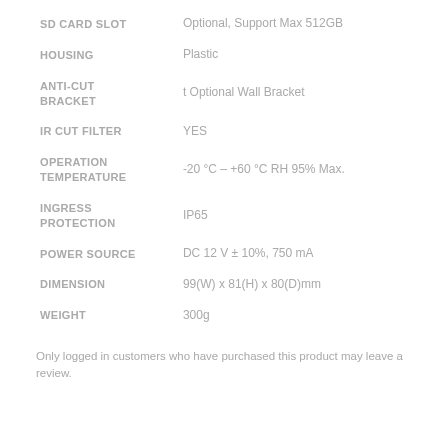| Feature | Value |
| --- | --- |
| SD CARD SLOT | Optional, Support Max 512GB |
| HOUSING | Plastic |
| ANTI-CUT BRACKET | t Optional Wall Bracket |
| IR CUT FILTER | YES |
| OPERATION TEMPERATURE | -20 °C – +60 °C RH 95% Max. |
| INGRESS PROTECTION | IP65 |
| POWER SOURCE | DC 12 V ± 10%, 750 mA |
| DIMENSION | 99(W) x 81(H) x 80(D)mm |
| WEIGHT | 300g |
Only logged in customers who have purchased this product may leave a review.